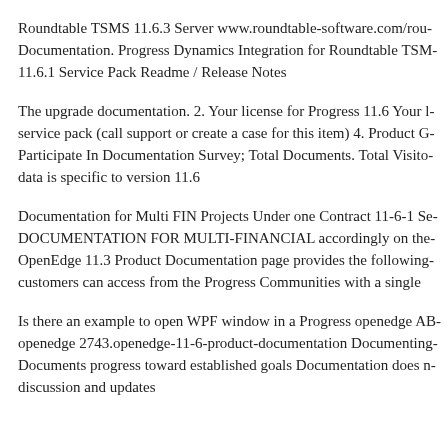Roundtable TSMS 11.6.3 Server www.roundtable-software.com/rou... Documentation. Progress Dynamics Integration for Roundtable TSM... 11.6.1 Service Pack Readme / Release Notes
The upgrade documentation. 2. Your license for Progress 11.6 Your l... service pack (call support or create a case for this item) 4. Product G... Participate In Documentation Survey; Total Documents. Total Visito... data is specific to version 11.6
Documentation for Multi FIN Projects Under one Contract 11-6-1 Se... DOCUMENTATION FOR MULTI-FINANCIAL accordingly on the... OpenEdge 11.3 Product Documentation page provides the following... customers can access from the Progress Communities with a single
Is there an example to open WPF window in a Progress openedge AB... openedge 2743.openedge-11-6-product-documentation Documenting... Documents progress toward established goals Documentation does n... discussion and updates